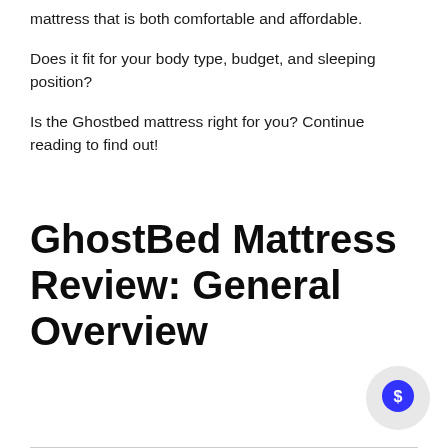mattress that is both comfortable and affordable.
Does it fit for your body type, budget, and sleeping position?
Is the Ghostbed mattress right for you? Continue reading to find out!
GhostBed Mattress Review: General Overview